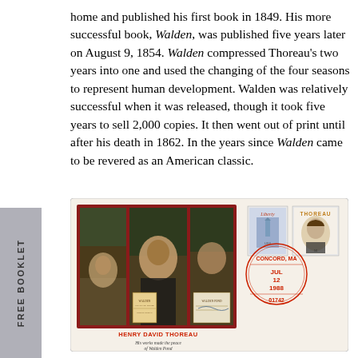home and published his first book in 1849. His more successful book, Walden, was published five years later on August 9, 1854. Walden compressed Thoreau's two years into one and used the changing of the four seasons to represent human development. Walden was relatively successful when it was released, though it took five years to sell 2,000 copies. It then went out of print until after his death in 1862. In the years since Walden came to be revered as an American classic.
[Figure (illustration): First Day Cover envelope featuring Henry David Thoreau. Left side shows a triptych illustration with Thoreau's portrait and forest scenes, with miniature book covers of Walden. Right side has a Liberty stamp and a Thoreau 5-cent stamp with a CONCORD MA postmark dated JUL 12 1988, 01742. Caption reads HENRY DAVID THOREAU / His works made the peace of Walden Pond.]